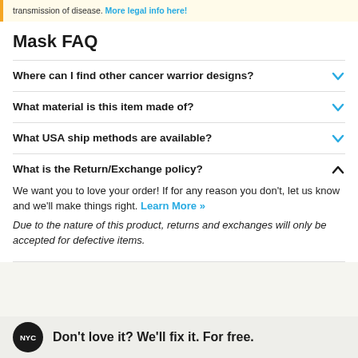transmission of disease. More legal info here!
Mask FAQ
Where can I find other cancer warrior designs?
What material is this item made of?
What USA ship methods are available?
What is the Return/Exchange policy?
We want you to love your order! If for any reason you don't, let us know and we'll make things right. Learn More »
Due to the nature of this product, returns and exchanges will only be accepted for defective items.
Don't love it? We'll fix it. For free.